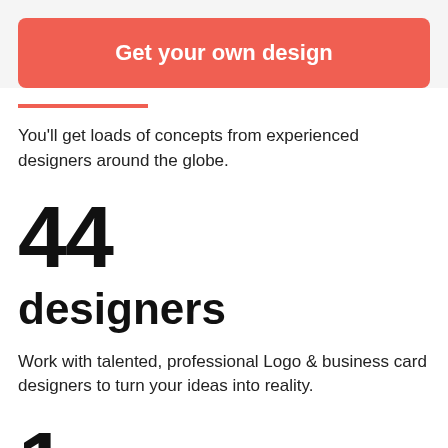Get your own design
You'll get loads of concepts from experienced designers around the globe.
44
designers
Work with talented, professional Logo & business card designers to turn your ideas into reality.
1